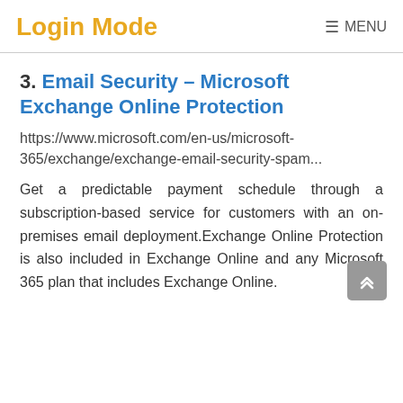Login Mode   ≡ MENU
3. Email Security – Microsoft Exchange Online Protection
https://www.microsoft.com/en-us/microsoft-365/exchange/exchange-email-security-spam...
Get a predictable payment schedule through a subscription-based service for customers with an on-premises email deployment.Exchange Online Protection is also included in Exchange Online and any Microsoft 365 plan that includes Exchange Online.